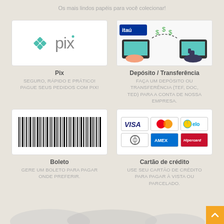Os mais lindos papéis para você colecionar!
[Figure (logo): PIX payment logo with teal diamond icon and 'pix' text]
Pix
SEGURO, RÁPIDO E PRÁTICO!
PAGUE SEUS PEDIDOS COM PIX!
[Figure (illustration): Itaú bank deposit/transfer illustration showing hands with money and a tablet]
Depósito / Transferência
FAÇA UM DEPÓSITO OU TRANSFERÊNCIA (TEF, DOC, TED) PARA A CONTA DE NOSSA EMPRESA.
[Figure (other): Barcode image for boleto payment]
Boleto
GERE UM BOLETO PARA PAGAR ONDE PREFERIR.
[Figure (infographic): Credit card logos: VISA, Mastercard, Elo, Diners, AMEX, Hipercard]
Cartão de crédito
USE SEU CARTÃO DE CRÉDITO PARA PAGAR À VISTA OU PARCELADO.